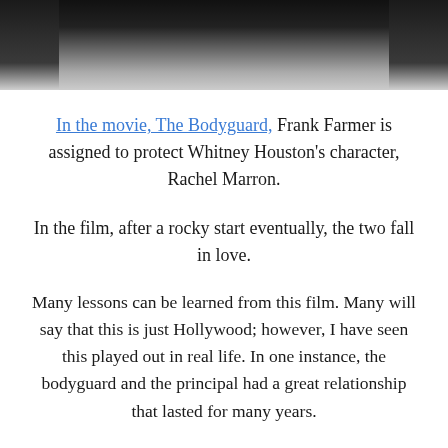[Figure (photo): Partial photo of a man in a suit and tie, cropped to show neck and lower face area only, dark background]
In the movie, The Bodyguard, Frank Farmer is assigned to protect Whitney Houston's character, Rachel Marron.
In the film, after a rocky start eventually, the two fall in love.
Many lessons can be learned from this film. Many will say that this is just Hollywood; however, I have seen this played out in real life. In one instance, the bodyguard and the principal had a great relationship that lasted for many years.